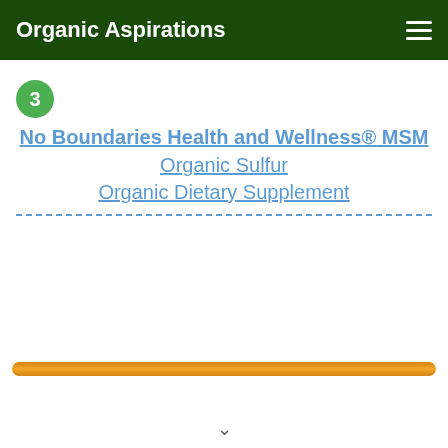Organic Aspirations
3
No Boundaries Health and Wellness® MSM Organic Sulfur Organic Dietary Supplement